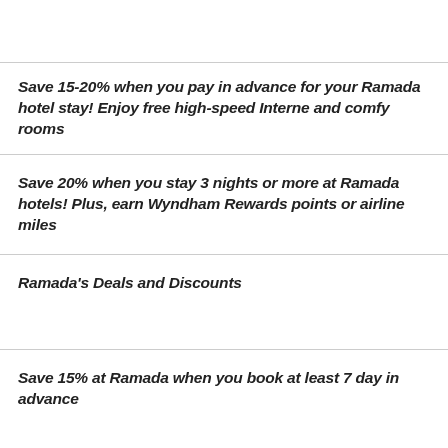Save 15-20% when you pay in advance for your Ramada hotel stay! Enjoy free high-speed Internet and comfy rooms
Save 20% when you stay 3 nights or more at Ramada hotels! Plus, earn Wyndham Rewards points or airline miles
Ramada's Deals and Discounts
Save 15% at Ramada when you book at least 7 days in advance